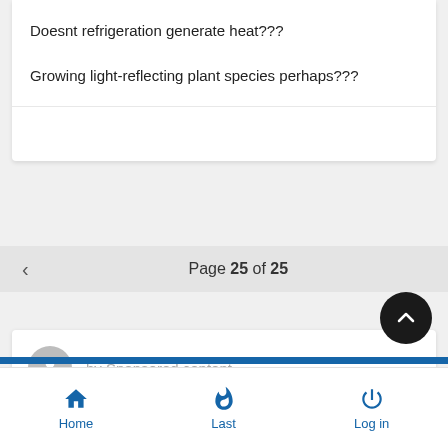Doesnt refrigeration generate heat???
Growing light-reflecting plant species perhaps???
by Sponsored content
Page 25 of 25
Home  Last  Log in